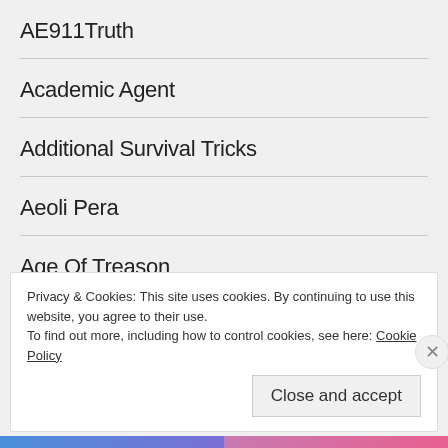AE911Truth
Academic Agent
Additional Survival Tricks
Aeoli Pera
Age Of Treason
Aimee Terese
Privacy & Cookies: This site uses cookies. By continuing to use this website, you agree to their use.
To find out more, including how to control cookies, see here: Cookie Policy
Close and accept